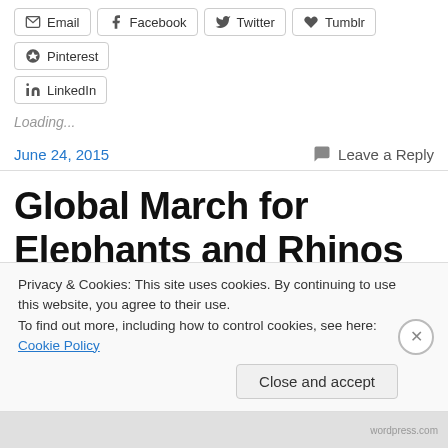Email | Facebook | Twitter | Tumblr | Pinterest
LinkedIn
Loading...
June 24, 2015
Leave a Reply
Global March for Elephants and Rhinos Oct 3 & 4 2015
Privacy & Cookies: This site uses cookies. By continuing to use this website, you agree to their use.
To find out more, including how to control cookies, see here: Cookie Policy
Close and accept